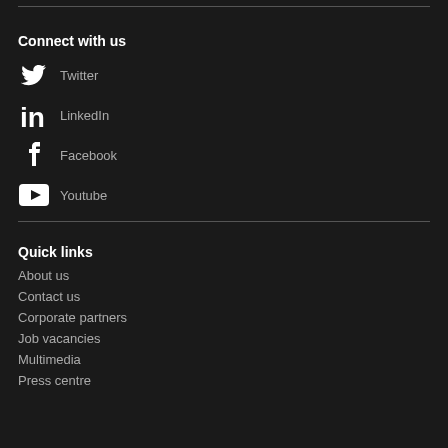Connect with us
Twitter
LinkedIn
Facebook
Youtube
Quick links
About us
Contact us
Corporate partners
Job vacancies
Multimedia
Press centre